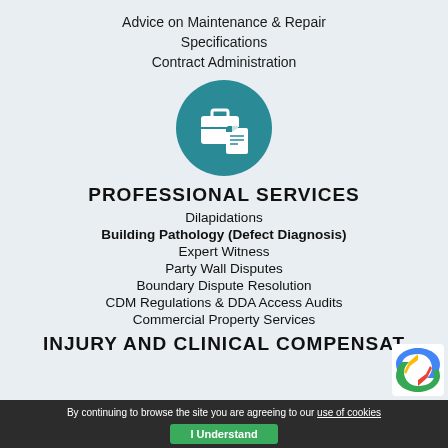Advice on Maintenance & Repair
Specifications
Contract Administration
[Figure (illustration): Teal circle icon with briefcase and document]
PROFESSIONAL SERVICES
Dilapidations
Building Pathology (Defect Diagnosis)
Expert Witness
Party Wall Disputes
Boundary Dispute Resolution
CDM Regulations & DDA Access Audits
Commercial Property Services
INJURY AND CLINICAL COMPENSAT
By continuing to browse the site you are agreeing to our use of cookies  I Understand